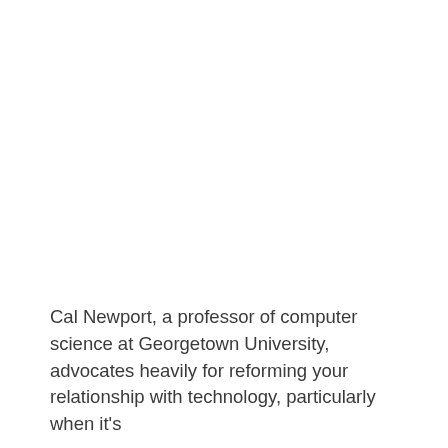Cal Newport, a professor of computer science at Georgetown University, advocates heavily for reforming your relationship with technology, particularly when it's